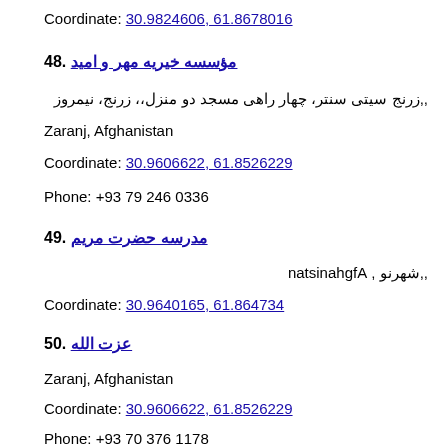Coordinate: 30.9824606, 61.8678016
48. مؤسسه خیریه مهر و امید
,,زرنج سیتی سنتر، چهار راهی مسجد دو منزل،، زرنج، نیمروز
Zaranj, Afghanistan
Coordinate: 30.9606622, 61.8526229
Phone: +93 79 246 0336
49. مدرسه حضرت مریم
,,شهرنو , Afghanistan
Coordinate: 30.9640165, 61.864734
50. عزت الله
Zaranj, Afghanistan
Coordinate: 30.9606622, 61.8526229
Phone: +93 70 376 1178